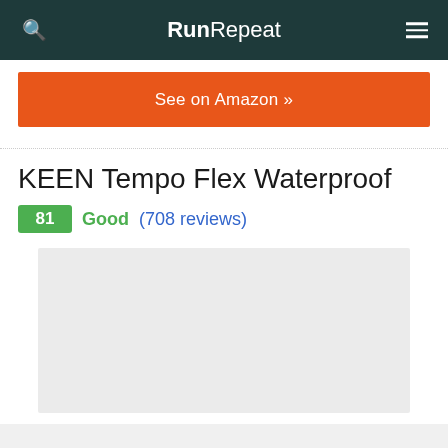RunRepeat
See on Amazon »
KEEN Tempo Flex Waterproof
81 Good (708 reviews)
[Figure (photo): Product image placeholder (light gray rectangle)]
[Figure (photo): Partial bottom image placeholder (light gray)]